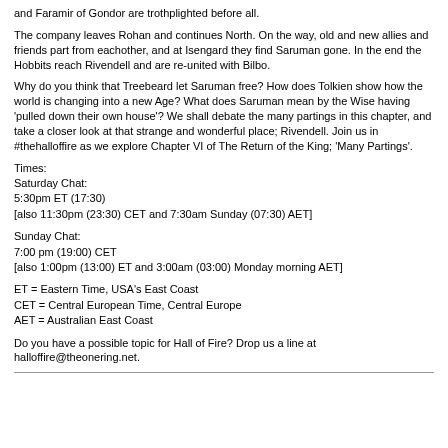and Faramir of Gondor are trothplighted before all.
The company leaves Rohan and continues North. On the way, old and new allies and friends part from eachother, and at Isengard they find Saruman gone. In the end the Hobbits reach Rivendell and are re-united with Bilbo.
Why do you think that Treebeard let Saruman free? How does Tolkien show how the world is changing into a new Age? What does Saruman mean by the Wise having 'pulled down their own house'? We shall debate the many partings in this chapter, and take a closer look at that strange and wonderful place; Rivendell. Join us in #thehalloffire as we explore Chapter VI of The Return of the King; 'Many Partings'.
Times:
Saturday Chat:
5:30pm ET (17:30)
[also 11:30pm (23:30) CET and 7:30am Sunday (07:30) AET]
Sunday Chat:
7:00 pm (19:00) CET
[also 1:00pm (13:00) ET and 3:00am (03:00) Monday morning AET]
ET = Eastern Time, USA's East Coast
CET = Central European Time, Central Europe
AET = Australian East Coast
Do you have a possible topic for Hall of Fire? Drop us a line at halloffire@theonering.net.